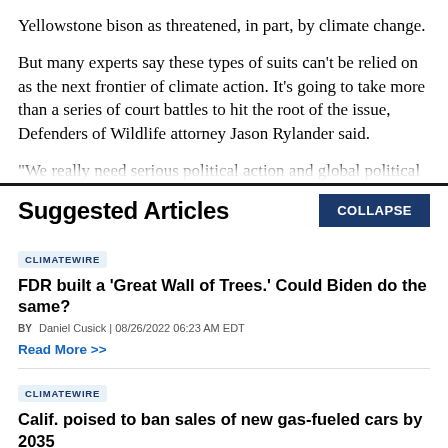Yellowstone bison as threatened, in part, by climate change.
But many experts say these types of suits can’t be relied on as the next frontier of climate action. It’s going to take more than a series of court battles to hit the root of the issue, Defenders of Wildlife attorney Jason Rylander said.
"We really need serious political action and global political action to redesign our fossil fuel-based economy, and one more piece by piece litigation under the ESA is
Suggested Articles
CLIMATEWIRE
FDR built a ‘Great Wall of Trees.’ Could Biden do the same?
BY Daniel Cusick | 08/26/2022 06:23 AM EDT
Read More >>
CLIMATEWIRE
Calif. poised to ban sales of new gas-fueled cars by 2035